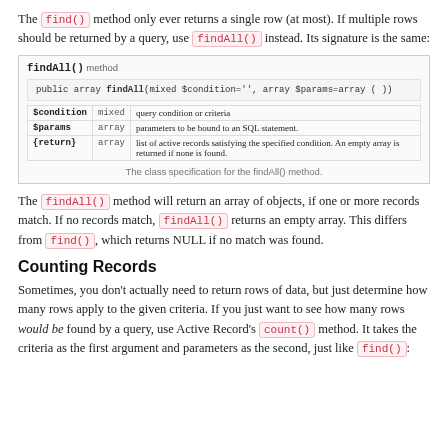The find() method only ever returns a single row (at most). If multiple rows should be returned by a query, use findAll() instead. Its signature is the same:
[Figure (table-as-image): API documentation box showing findAll() method signature: public array findAll(mixed $condition='', array $params=array ( )) with parameter table listing $condition (mixed), $params (array), and {return} (array) descriptions.]
The class specification for the findAll() method.
The findAll() method will return an array of objects, if one or more records match. If no records match, findAll() returns an empty array. This differs from find(), which returns NULL if no match was found.
Counting Records
Sometimes, you don't actually need to return rows of data, but just determine how many rows apply to the given criteria. If you just want to see how many rows would be found by a query, use Active Record's count() method. It takes the criteria as the first argument and parameters as the second, just like find():